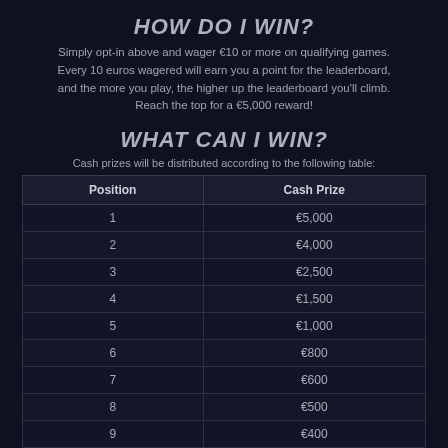HOW DO I WIN?
Simply opt-in above and wager €10 or more on qualifying games. Every 10 euros wagered will earn you a point for the leaderboard, and the more you play, the higher up the leaderboard you'll climb. Reach the top for a €5,000 reward!
WHAT CAN I WIN?
Cash prizes will be distributed according to the following table:
| Position | Cash Prize |
| --- | --- |
| 1 | €5,000 |
| 2 | €4,000 |
| 3 | €2,500 |
| 4 | €1,500 |
| 5 | €1,000 |
| 6 | €800 |
| 7 | €600 |
| 8 | €500 |
| 9 | €400 |
| 10 | €300 |